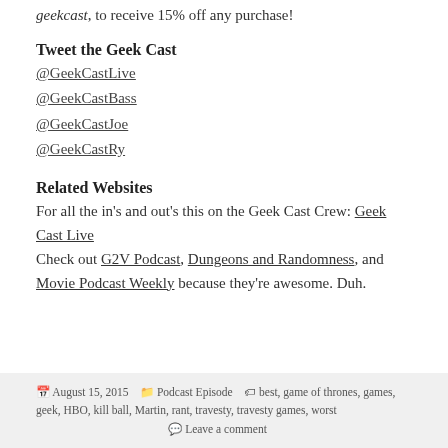geekcast, to receive 15% off any purchase!
Tweet the Geek Cast
@GeekCastLive
@GeekCastBass
@GeekCastJoe
@GeekCastRy
Related Websites
For all the in's and out's this on the Geek Cast Crew: Geek Cast Live
Check out G2V Podcast, Dungeons and Randomness, and Movie Podcast Weekly because they're awesome. Duh.
August 15, 2015   Podcast Episode   best, game of thrones, games, geek, HBO, kill ball, Martin, rant, travesty, travesty games, worst   Leave a comment